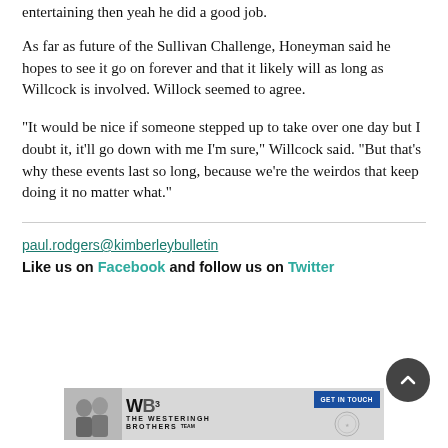entertaining then yeah he did a good job.
As far as future of the Sullivan Challenge, Honeyman said he hopes to see it go on forever and that it likely will as long as Willcock is involved. Willock seemed to agree.
“It would be nice if someone stepped up to take over one day but I doubt it, it’ll go down with me I’m sure,” Willcock said. “But that’s why these events last so long, because we’re the weirdos that keep doing it no matter what.”
paul.rodgers@kimberleybulletin
Like us on Facebook and follow us on Twitter
[Figure (photo): Advertisement banner for The Westeringh Brothers team with GET IN TOUCH button]